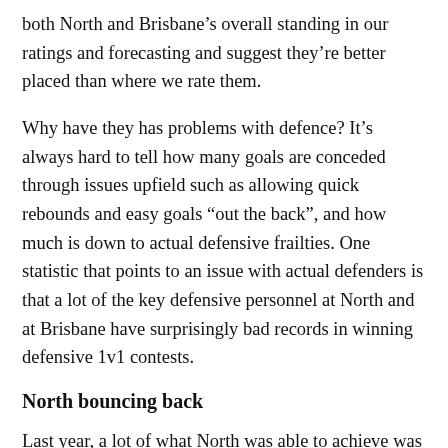both North and Brisbane’s overall standing in our ratings and forecasting and suggest they’re better placed than where we rate them.
Why have they has problems with defence? It’s always hard to tell how many goals are conceded through issues upfield such as allowing quick rebounds and easy goals “out the back”, and how much is down to actual defensive frailties. One statistic that points to an issue with actual defenders is that a lot of the key defensive personnel at North and at Brisbane have surprisingly bad records in winning defensive 1v1 contests.
North bouncing back
Last year, a lot of what North was able to achieve was